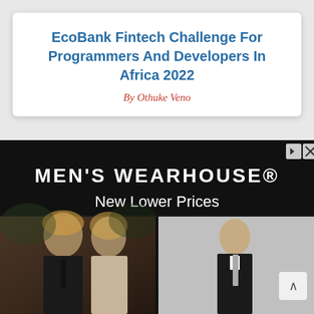EcoBank Fintech Challenge For Programmers And Developers In Africa 2022
By Othuke Veno
[Figure (photo): Men's Wearhouse advertisement banner with black background showing brand name 'MEN'S WEARHOUSE®' and tagline 'New Lower Prices', with photos of a man and woman in formal wear on the left and a man in a tuxedo on the right]